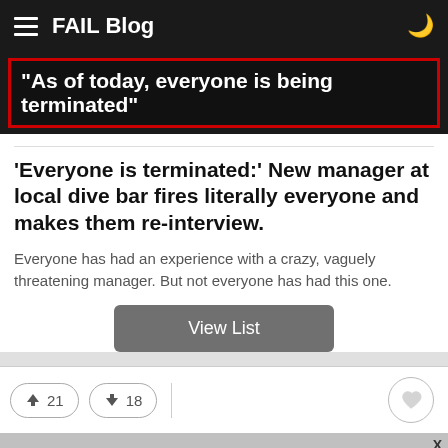FAIL Blog
[Figure (screenshot): Dark banner with red-bordered text box showing quote: "As of today, everyone is being terminated"]
'Everyone is terminated:' New manager at local dive bar fires literally everyone and makes them re-interview.
Everyone has had an experience with a crazy, vaguely threatening manager. But not everyone has had this one.
View List
[Figure (infographic): Vote buttons showing upvote 21 and downvote 18, and a heart/favorite button]
[Figure (screenshot): ULTA beauty advertisement banner at the bottom of the page with SHOP NOW text]